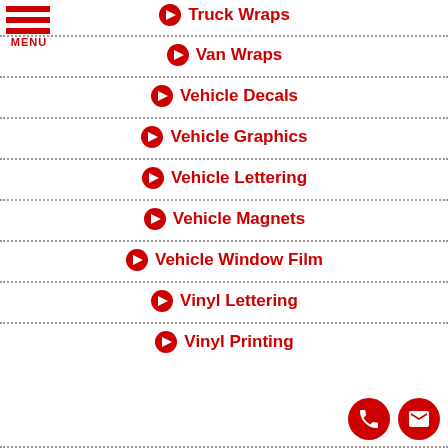[Figure (other): Red hamburger menu icon with three horizontal bars and MENU label]
Truck Wraps
Van Wraps
Vehicle Decals
Vehicle Graphics
Vehicle Lettering
Vehicle Magnets
Vehicle Window Film
Vinyl Lettering
Vinyl Printing
[Figure (other): Red circular phone icon button]
[Figure (other): Red circular envelope/email icon button]